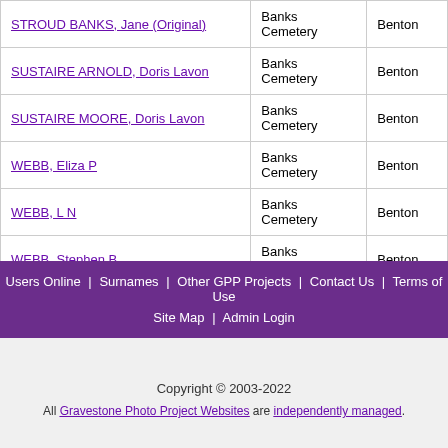| Name | Cemetery | County |
| --- | --- | --- |
| STROUD BANKS, Jane (Original) | Banks Cemetery | Benton |
| SUSTAIRE ARNOLD, Doris Lavon | Banks Cemetery | Benton |
| SUSTAIRE MOORE, Doris Lavon | Banks Cemetery | Benton |
| WEBB, Eliza P | Banks Cemetery | Benton |
| WEBB, L N | Banks Cemetery | Benton |
| WEBB, Stephen B | Banks Cemetery | Benton |
| WEBB, Tolbert | Banks Cemetery | Benton |
Users Online | Surnames | Other GPP Projects | Contact Us | Terms of Use | Site Map | Admin Login
Copyright © 2003-2022
All Gravestone Photo Project Websites are independently managed.